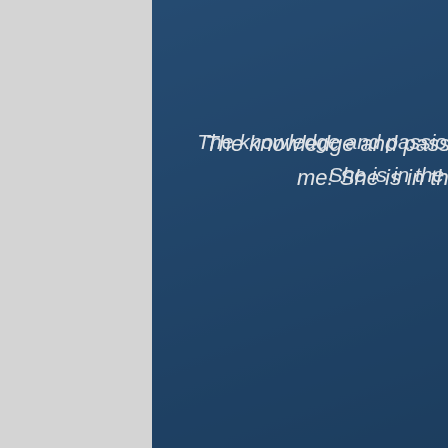Guadelupe, Teacher, CA
The knowledge and passion for books for EVERY reader has hooked me! She is in the classroom and just gets readers.
Lindsey, English Teacher, TX
Excellent content, EXCEPTIONAL presenter! The entire presentation